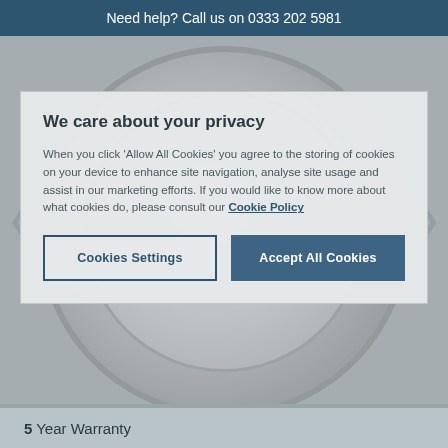Need help? Call us on 0333 202 5981
[Figure (photo): Circular GROHE product (thermostat or shower control) on a grey background, with left and right navigation arrows on either side]
We care about your privacy
When you click 'Allow All Cookies' you agree to the storing of cookies on your device to enhance site navigation, analyse site usage and assist in our marketing efforts. If you would like to know more about what cookies do, please consult our Cookie Policy
Cookies Settings
Accept All Cookies
5 Year Warranty